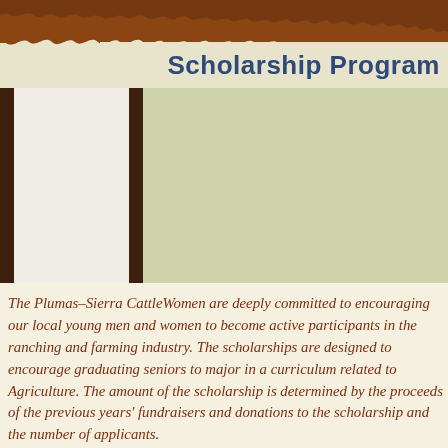[Figure (illustration): Torn brown paper / dirt texture decorative banner at top of page]
Scholarship Program
[Figure (illustration): Decorative columns area with dark brown vertical bars, cream panel on left, and sage green panel on right]
The Plumas–Sierra CattleWomen are deeply committed to encouraging our local young men and women to become active participants in the ranching and farming industry. The scholarships are designed to encourage graduating seniors to major in a curriculum related to Agriculture. The amount of the scholarship is determined by the proceeds of the previous years' fundraisers and donations to the scholarship and the number of applicants.